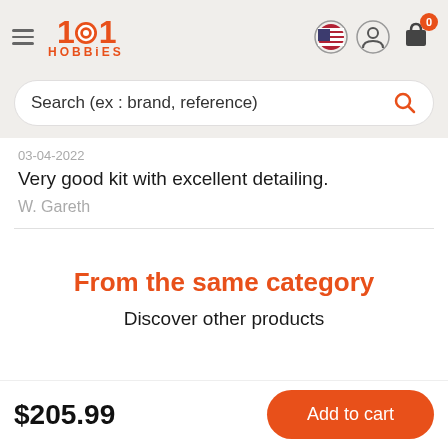1001 HOBBIES
Search (ex : brand, reference)
03-04-2022
Very good kit with excellent detailing.
W. Gareth
From the same category
Discover other products
$205.99
Add to cart